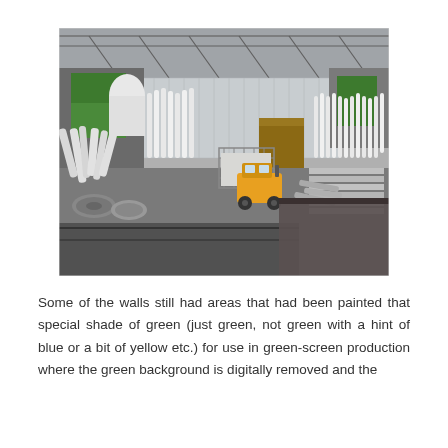[Figure (photo): Interior of a large industrial warehouse or building undergoing demolition or renovation. The space contains piles of white rolled materials (possibly pipes or tubes), a yellow forklift/compact loader in the center, metal wire cages, stacked flat materials, and various debris. The walls in the background show areas painted bright green (chroma key green screen paint). The ceiling has exposed steel trusses. A dark railing or barrier is visible in the foreground.]
Some of the walls still had areas that had been painted that special shade of green (just green, not green with a hint of blue or a bit of yellow etc.) for use in green-screen production where the green background is digitally removed and the